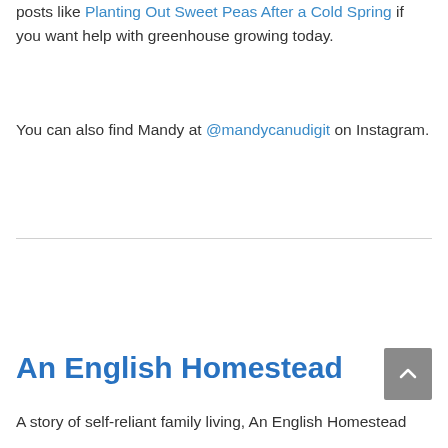posts like Planting Out Sweet Peas After a Cold Spring if you want help with greenhouse growing today.
You can also find Mandy at @mandycanudigit on Instagram.
An English Homestead
A story of self-reliant family living, An English Homestead